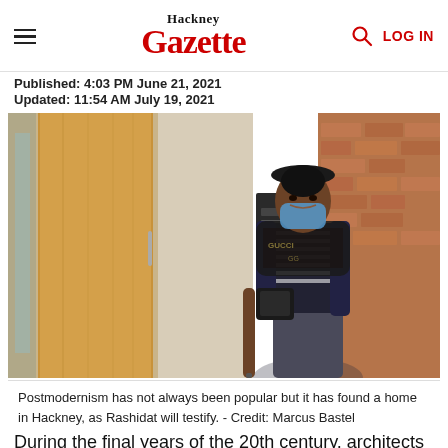Hackney Gazette | LOG IN
Published: 4:03 PM June 21, 2021
Updated: 11:54 AM July 19, 2021
[Figure (photo): A woman wearing a black hat, striped top, Gucci scarf and blue face mask stands in front of wooden doors and a brick wall]
Postmodernism has not always been popular but it has found a home in Hackney, as Rashidat will testify. - Credit: Marcus Bastel
During the final years of the 20th century, architects